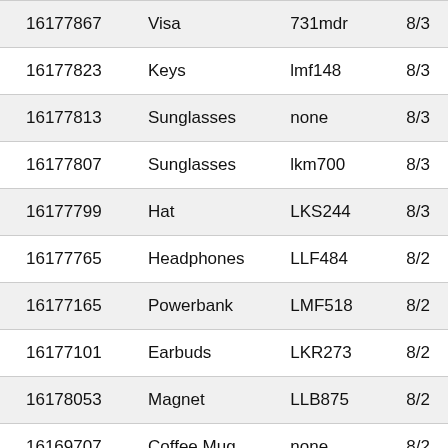| 16177867 | Visa | 731mdr | 8/3 |
| 16177823 | Keys | lmf148 | 8/3 |
| 16177813 | Sunglasses | none | 8/3 |
| 16177807 | Sunglasses | lkm700 | 8/3 |
| 16177799 | Hat | LKS244 | 8/3 |
| 16177765 | Headphones | LLF484 | 8/2 |
| 16177165 | Powerbank | LMF518 | 8/2 |
| 16177101 | Earbuds | LKR273 | 8/2 |
| 16178053 | Magnet | LLB875 | 8/2 |
| 16169707 | Coffee Mug | none | 8/2 |